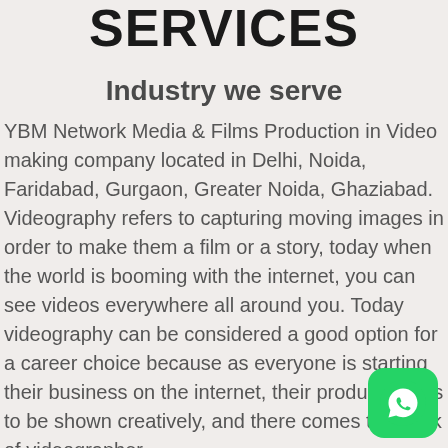SERVICES
Industry we serve
YBM Network Media & Films Production in Video making company located in Delhi, Noida, Faridabad, Gurgaon, Greater Noida, Ghaziabad. Videography refers to capturing moving images in order to make them a film or a story, today when the world is booming with the internet, you can see videos everywhere all around you. Today videography can be considered a good option for a career choice because as everyone is starting their business on the internet, their product needs to be shown creatively, and there comes the work of videographer.
[Figure (logo): WhatsApp logo button - green rounded square with white phone/chat icon]